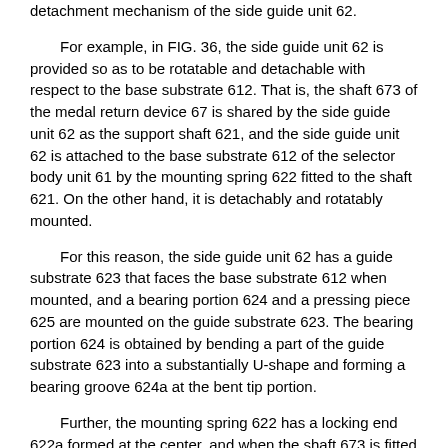detachment mechanism of the side guide unit 62.
For example, in FIG. 36, the side guide unit 62 is provided so as to be rotatable and detachable with respect to the base substrate 612. That is, the shaft 673 of the medal return device 67 is shared by the side guide unit 62 as the support shaft 621, and the side guide unit 62 is attached to the base substrate 612 of the selector body unit 61 by the mounting spring 622 fitted to the shaft 621. On the other hand, it is detachably and rotatably mounted.
For this reason, the side guide unit 62 has a guide substrate 623 that faces the base substrate 612 when mounted, and a bearing portion 624 and a pressing piece 625 are mounted on the guide substrate 623. The bearing portion 624 is obtained by bending a part of the guide substrate 623 into a substantially U-shape and forming a bearing groove 624a at the bent tip portion.
Further, the mounting spring 622 has a locking end 622a formed at the center, and when the shaft 673 is fitted in the bearing groove 624a, the locking end 622a is opened on the guide substrate 623. The side surface guide unit 62 is attached to the selector main body unit 61 by being